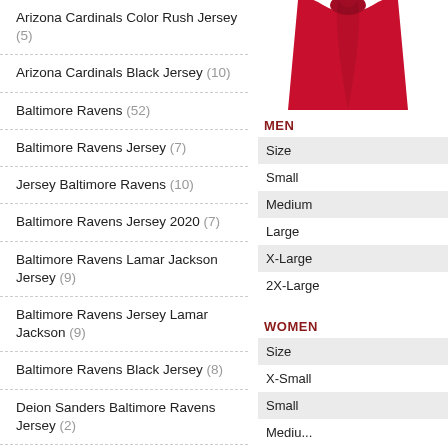Arizona Cardinals Color Rush Jersey (5)
Arizona Cardinals Black Jersey (10)
Baltimore Ravens (52)
Baltimore Ravens Jersey (7)
Jersey Baltimore Ravens (10)
Baltimore Ravens Jersey 2020 (7)
Baltimore Ravens Lamar Jackson Jersey (9)
Baltimore Ravens Jersey Lamar Jackson (9)
Baltimore Ravens Black Jersey (8)
Deion Sanders Baltimore Ravens Jersey (2)
Buffalo Bills (45)
Buffalo Bills Color Rush Jersey (4)
Buffalo Bills Josh Allen Jersey (13)
Buffalo Bills Red Jersey (6)
[Figure (photo): Red football jersey product image, partially visible at top]
MEN
Size
Small
Medium
Large
X-Large
2X-Large
WOMEN
Size
X-Small
Small
Mediu...